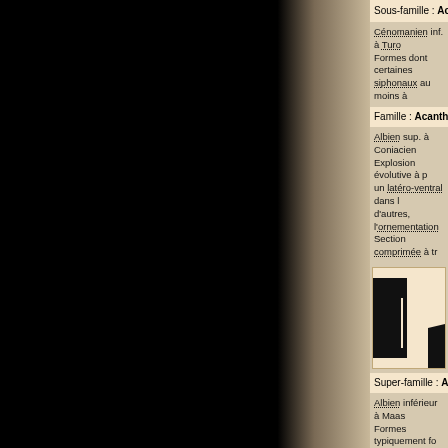Sous-famille : Acanth…
Cénomanien inf. à Turo… Formes dont certaines… siphonaux au moins à …
Famille : Acanth…
Albien sup. à Coniacien… Explosion évolutive à p… un latéro-ventral dans l… d'autres, l'ornementation… Section comprimée à tr…
[Figure (illustration): Fossil ammonite cross-section illustration showing internal chambers, beige/cream background with black silhouette]
Super-famille : Acanth…
Albien inférieur à Maas… Formes typiquement fo… large variété d'autres ty…
Sous-ordre : Ammo…